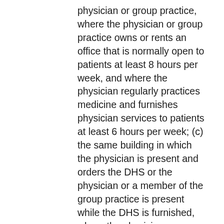physician or group practice, where the physician or group practice owns or rents an office that is normally open to patients at least 8 hours per week, and where the physician regularly practices medicine and furnishes physician services to patients at least 6 hours per week; (c) the same building in which the physician is present and orders the DHS or the physician or a member of the group practice is present while the DHS is furnished, where the physician or group practice owns or rents an office that is normally open to patients at least 8 hours per week, and where the physician or a member of the group practice regularly practices medicine and furnishes physician services to patients at least 6 hours per week; or (d) a "centralized building" used by the group practice for the provision of some or all of the group's clinical laboratory services or DHS other than clinical laboratory services.